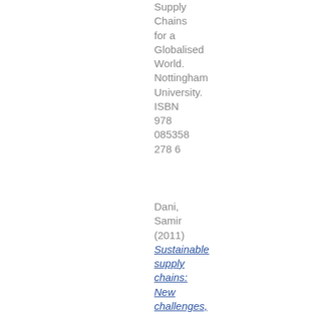Supply Chains for a Globalised World. Nottingham University. ISBN 978 085358 278 6
Dani, Samir (2011) Sustainable supply chains: New challenges, new